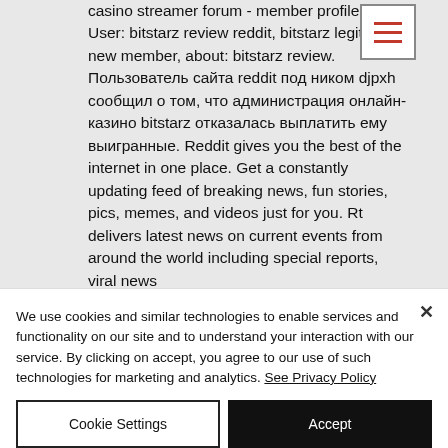casino streamer forum - member profile page. User: bitstarz review reddit, bitstarz legit, title: new member, about: bitstarz review. Пользователь сайта reddit под ником djpxh сообщил о том, что администрация онлайн-казино bitstarz отказалась выплатить ему выигранные. Reddit gives you the best of the internet in one place. Get a constantly updating feed of breaking news, fun stories, pics, memes, and videos just for you. Rt delivers latest news on current events from around the world including special reports, viral news
We use cookies and similar technologies to enable services and functionality on our site and to understand your interaction with our service. By clicking on accept, you agree to our use of such technologies for marketing and analytics. See Privacy Policy
Cookie Settings
Accept